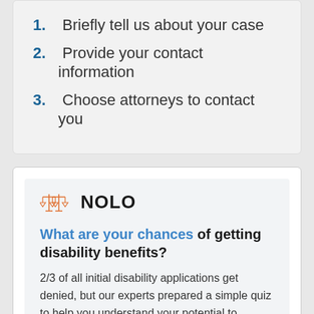1. Briefly tell us about your case
2. Provide your contact information
3. Choose attorneys to contact you
[Figure (logo): Nolo logo with scales of justice icon in orange and NOLO text in bold black]
What are your chances of getting disability benefits?
2/3 of all initial disability applications get denied, but our experts prepared a simple quiz to help you understand your potential to receive benefits.
Take Quiz